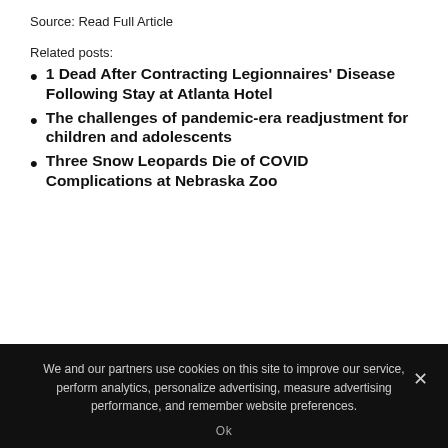Source: Read Full Article
Related posts:
1 Dead After Contracting Legionnaires' Disease Following Stay at Atlanta Hotel
The challenges of pandemic-era readjustment for children and adolescents
Three Snow Leopards Die of COVID Complications at Nebraska Zoo
← PREVIOUS ARTICLE
Tuberculosis spread 'depends on moisture in the air'
NEXT ARTICLE →
Patients hospitalized with COVID-19 were three times as
We and our partners use cookies on this site to improve our service, perform analytics, personalize advertising, measure advertising performance, and remember website preferences.
Ok